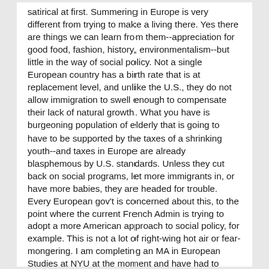satirical at first. Summering in Europe is very different from trying to make a living there. Yes there are things we can learn from them--appreciation for good food, fashion, history, environmentalism--but little in the way of social policy. Not a single European country has a birth rate that is at replacement level, and unlike the U.S., they do not allow immigration to swell enough to compensate their lack of natural growth. What you have is burgeoning population of elderly that is going to have to be supported by the taxes of a shrinking youth--and taxes in Europe are already blasphemous by U.S. standards. Unless they cut back on social programs, let more immigrants in, or have more babies, they are headed for trouble. Every European gov't is concerned about this, to the point where the current French Admin is trying to adopt a more American approach to social policy, for example. This is not a lot of right-wing hot air or fear-mongering. I am completing an MA in European Studies at NYU at the moment and have had to research extensively on these issues. And after a semester of researching the status of immigrants and racial minorities in Europe, I'd only recommend moving there if: A) you're prepared to deal with a lot of 60s-style bureaucratic racism, or B) you're